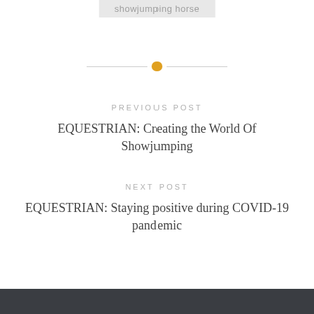showjumping horse
[Figure (other): Horizontal divider line with orange circle in center]
PREVIOUS POST
EQUESTRIAN: Creating the World Of Showjumping
NEXT POST
EQUESTRIAN: Staying positive during COVID-19 pandemic